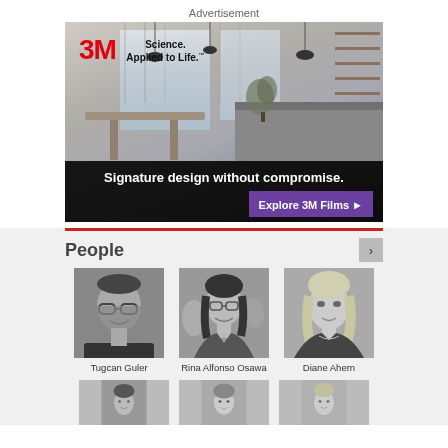Advertisement
[Figure (photo): 3M advertisement banner showing a modern interior with large windows, restaurant/cafe setting. Logo reads '3M Science. Applied to Life.' Tagline: 'Signature design without compromise.' CTA button: 'Explore 3M Films ►']
People
[Figure (photo): Grayscale portrait photo of Tugcan Guler, a man with glasses smiling]
Tugcan Guler
[Figure (photo): Grayscale portrait photo of Rina Alfonso Osawa, a woman with glasses smiling]
Rina Alfonso Osawa
[Figure (photo): Grayscale portrait photo of Diane Ahern, a woman with blonde hair]
Diane Ahern
[Figure (photo): Partial grayscale portrait photos of three more people in the row below (cropped at bottom of page)]